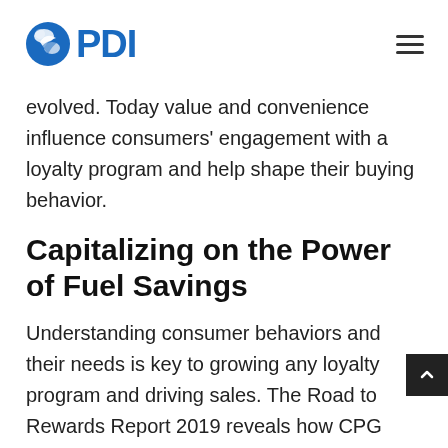PDI
evolved. Today value and convenience influence consumers' engagement with a loyalty program and help shape their buying behavior.
Capitalizing on the Power of Fuel Savings
Understanding consumer behaviors and their needs is key to growing any loyalty program and driving sales. The Road to Rewards Report 2019 reveals how CPG